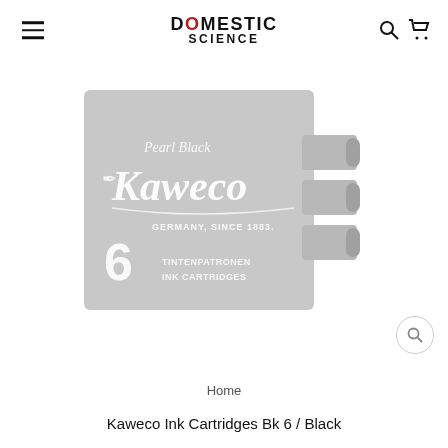DOMESTIC SCIENCE
[Figure (photo): Kaweco Pearl Black ink cartridges box — grey packaging with Kaweco logo, 'Pearl Black', 'GERMANY, SINCE 1883.', '6 TINTENPATRONEN INK CARTRIDGES', with three ink cartridge tips visible on the right side]
Home
Kaweco Ink Cartridges Bk 6 / Black